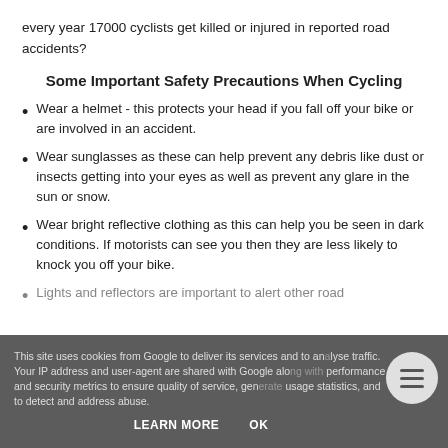every year 17000 cyclists get killed or injured in reported road accidents?
Some Important Safety Precautions When Cycling
Wear a helmet - this protects your head if you fall off your bike or are involved in an accident.
Wear sunglasses as these can help prevent any debris like dust or insects getting into your eyes as well as prevent any glare in the sun or snow.
Wear bright reflective clothing as this can help you be seen in dark conditions. If motorists can see you then they are less likely to knock you off your bike.
Lights and reflectors are important to alert other road
This site uses cookies from Google to deliver its services and to analyse traffic. Your IP address and user-agent are shared with Google along with performance and security metrics to ensure quality of service, generate usage statistics, and to detect and address abuse.
LEARN MORE   OK